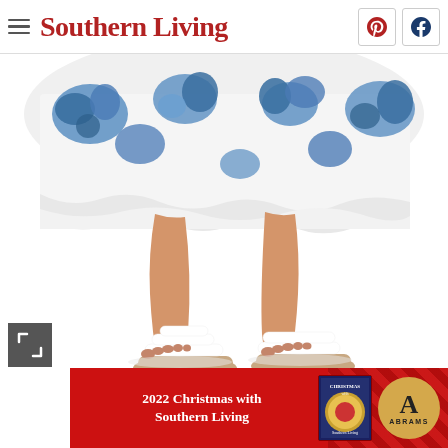Southern Living
[Figure (photo): Lower half of a person wearing a blue and white floral dress/skirt and white strappy slide sandals, standing against a white background. Two pairs of sandals are visible - one on each foot.]
[Figure (infographic): Advertisement banner for '2022 Christmas with Southern Living' book published by Abrams, shown with red background and decorative diagonal stripes. Features book cover thumbnail and Abrams publisher logo.]